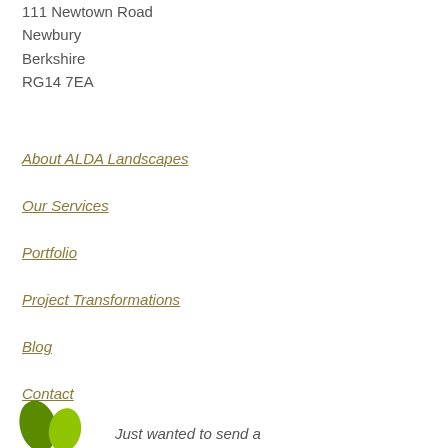111 Newtown Road
Newbury
Berkshire
RG14 7EA
About ALDA Landscapes
Our Services
Portfolio
Project Transformations
Blog
Contact
[Figure (logo): ALDA Landscapes logo with two green leaves]
Just wanted to send a